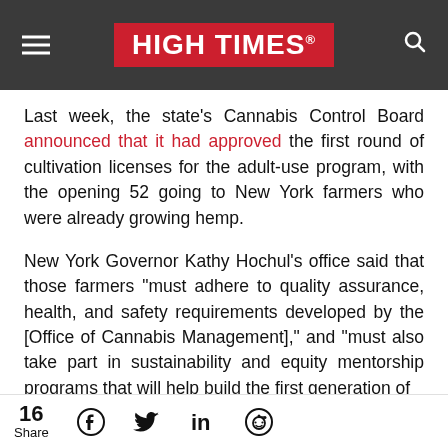HIGH TIMES
Last week, the state's Cannabis Control Board announced that it had approved the first round of cultivation licenses for the adult-use program, with the opening 52 going to New York farmers who were already growing hemp.
New York Governor Kathy Hochul's office said that those farmers “must adhere to quality assurance, health, and safety requirements developed by the [Office of Cannabis Management],” and “must also take part in sustainability and equity mentorship programs that will help build the first generation of
16 Share